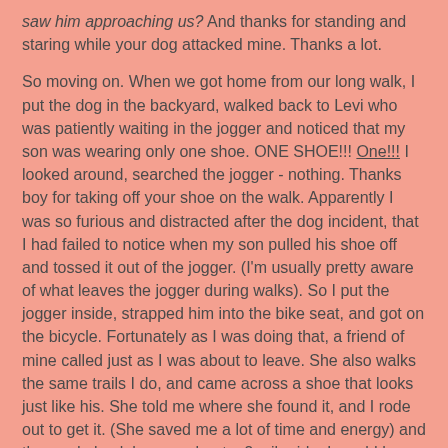saw him approaching us? And thanks for standing and staring while your dog attacked mine. Thanks a lot.
So moving on. When we got home from our long walk, I put the dog in the backyard, walked back to Levi who was patiently waiting in the jogger and noticed that my son was wearing only one shoe. ONE SHOE!!! One!!! I looked around, searched the jogger - nothing. Thanks boy for taking off your shoe on the walk. Apparently I was so furious and distracted after the dog incident, that I had failed to notice when my son pulled his shoe off and tossed it out of the jogger. (I'm usually pretty aware of what leaves the jogger during walks). So I put the jogger inside, strapped him into the bike seat, and got on the bicycle. Fortunately as I was doing that, a friend of mine called just as I was about to leave. She also walks the same trails I do, and came across a shoe that looks just like his. She told me where she found it, and I rode out to get it. (She saved me a lot of time and energy) and then rode back home - about a 2 mile ride. I would have to say this wasn't the best day to do long walk and then turn around and immediately go for a bike ride with a 20 pound kid on the back - especially since my energy